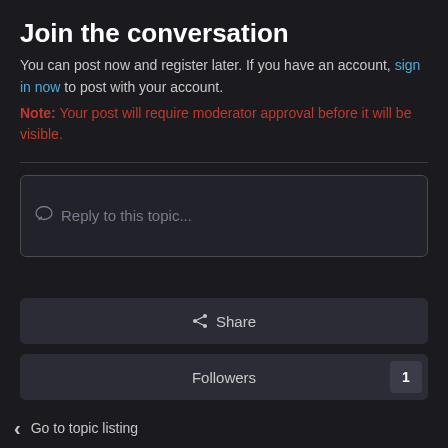Join the conversation
You can post now and register later. If you have an account, sign in now to post with your account.
Note: Your post will require moderator approval before it will be visible.
Reply to this topic...
Share
Followers  1
Go to topic listing